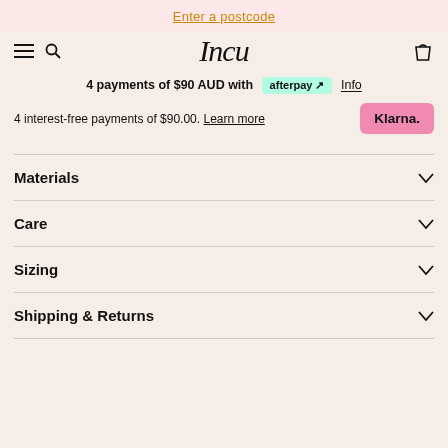Enter a postcode
[Figure (screenshot): Incu store navigation bar with hamburger menu, search icon, Incu script logo, and cart icon]
4 payments of $90 AUD with afterpay Info
4 interest-free payments of $90.00. Learn more  Klarna.
Materials
Care
Sizing
Shipping & Returns